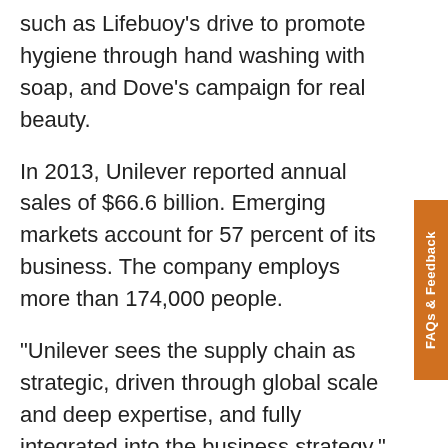such as Lifebuoy's drive to promote hygiene through hand washing with soap, and Dove's campaign for real beauty.
In 2013, Unilever reported annual sales of $66.6 billion. Emerging markets account for 57 percent of its business. The company employs more than 174,000 people.
"Unilever sees the supply chain as strategic, driven through global scale and deep expertise, and fully integrated into the business strategy," says Kees Kruythoff, president, North America, Unilever. "Supply chain is absolutely critical to Unilever's success. Most importantly, it is about delivering value to customers. In an increasingly omni-channel environment, it becomes even more important to create a channel-segmented, responsive, and flexible supply chain—and to do so at